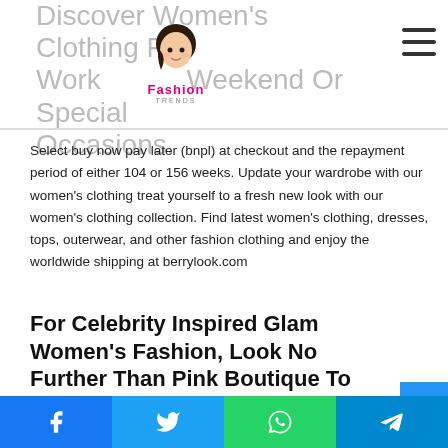Discover Women's Clothing For Work, Weekend Or Special Occasions.
[Figure (logo): Fashion Trends logo with illustrated woman face and pink cursive text]
Select buy now pay later (bnpl) at checkout and the repayment period of either 104 or 156 weeks. Update your wardrobe with our women's clothing treat yourself to a fresh new look with our women's clothing collection. Find latest women's clothing, dresses, tops, outerwear, and other fashion clothing and enjoy the worldwide shipping at berrylook.com
For Celebrity Inspired Glam Women's Fashion, Look No Further Than Pink Boutique To Keep Your Wardrobe Looking On Fleek All Day.
Facebook | Twitter | WhatsApp | Telegram